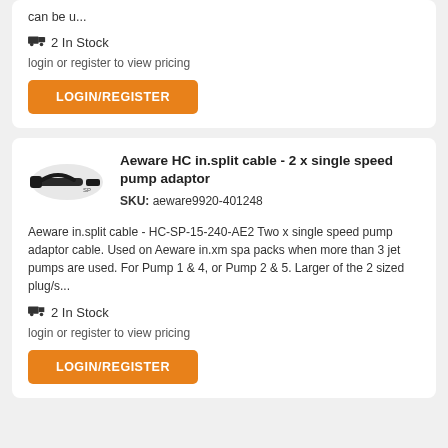can be u...
🚚 2 In Stock
login or register to view pricing
LOGIN/REGISTER
Aeware HC in.split cable - 2 x single speed pump adaptor
SKU: aeware9920-401248
Aeware in.split cable - HC-SP-15-240-AE2 Two x single speed pump adaptor cable. Used on Aeware in.xm spa packs when more than 3 jet pumps are used. For Pump 1 & 4, or Pump 2 & 5. Larger of the 2 sized plug/s...
🚚 2 In Stock
login or register to view pricing
LOGIN/REGISTER